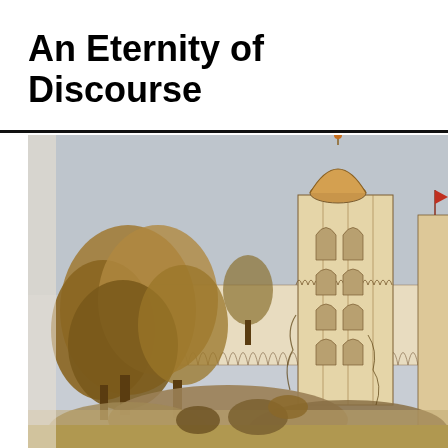An Eternity of Discourse
[Figure (illustration): A historical sketch or watercolor illustration depicting an Indian architectural scene — a large ornate tower or minaret with a domed top and decorative arched crenellations, flanked by trees on the left and a long arcaded wall in the background. In the foreground, there appear to be figures or animals near rocks. The palette is warm sepia, tan, and muted blue-grey sky.]